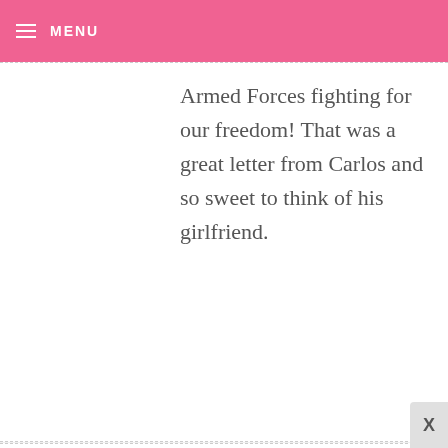MENU
Armed Forces fighting for our freedom! That was a great letter from Carlos and so sweet to think of his girlfriend.
WISHTRISH — JULY 4, 2009 @ 7:10 AM  REPLY
As simple as these are, they are among my favorites!
Thank you, soldiers of all kinds everywhere! Thank you, thank you,